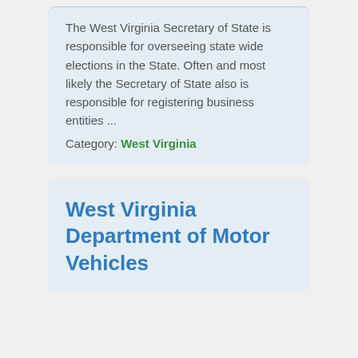The West Virginia Secretary of State is responsible for overseeing state wide elections in the State. Often and most likely the Secretary of State also is responsible for registering business entities ...
Category: West Virginia
West Virginia Department of Motor Vehicles